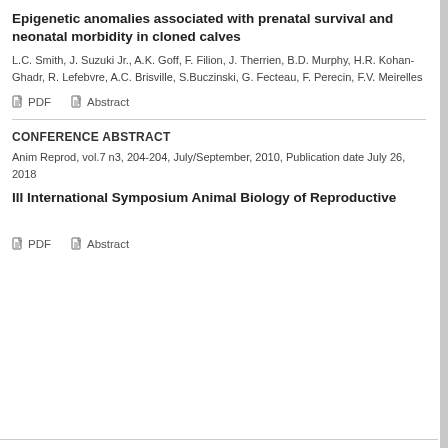Epigenetic anomalies associated with prenatal survival and neonatal morbidity in cloned calves
L.C. Smith, J. Suzuki Jr., A.K. Goff, F. Filion, J. Therrien, B.D. Murphy, H.R. Kohan-Ghadr, R. Lefebvre, A.C. Brisville, S.Buczinski, G. Fecteau, F. Perecin, F.V. Meirelles
PDF   Abstract
CONFERENCE ABSTRACT
Anim Reprod, vol.7 n3, 204-204, July/September, 2010, Publication date July 26, 2018
III International Symposium Animal Biology of Reproductive
PDF   Abstract